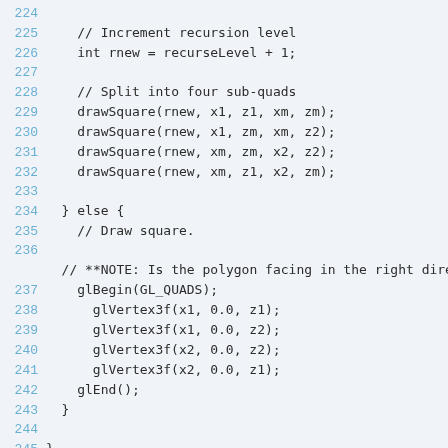224
225     // Increment recursion level
226     int rnew = recurseLevel + 1;
227
228     // Split into four sub-quads
229     drawSquare(rnew, x1, z1, xm, zm);
230     drawSquare(rnew, x1, zm, xm, z2);
231     drawSquare(rnew, xm, zm, x2, z2);
232     drawSquare(rnew, xm, z1, x2, zm);
233
234   } else {
235     // Draw square.
236
       // **NOTE: Is the polygon facing in the right direct
237     glBegin(GL_QUADS);
238       glVertex3f(x1, 0.0, z1);
239       glVertex3f(x1, 0.0, z2);
240       glVertex3f(x2, 0.0, z2);
241       glVertex3f(x2, 0.0, z1);
242     glEnd();
243   }
244
245 }
246
247 /**